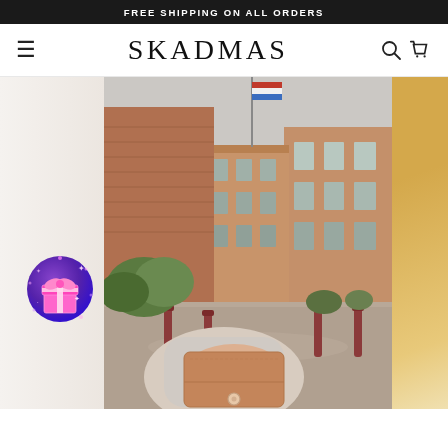FREE SHIPPING ON ALL ORDERS
SKADMAS
[Figure (photo): E-commerce website screenshot for SKADMAS brand. Shows a navigation bar with hamburger menu, search and cart icons, and the brand name SKADMAS in the center. Below is a hero image of a person holding a tan/camel leather wallet on a cobblestone street lined with historic brick townhouses. A decorative gift badge icon is overlaid on the left side. Partial images are visible on the far left and right edges of the hero carousel.]